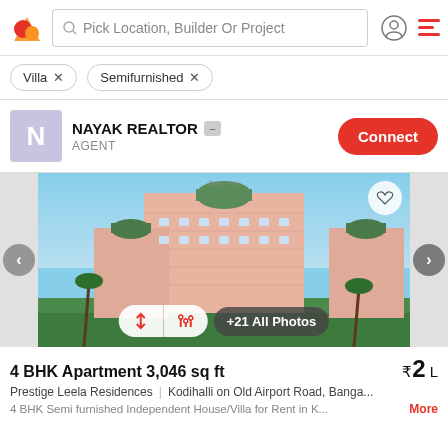Pick Location, Builder Or Project
Villa ×
Semifurnished ×
NAYAK REALTOR | AGENT
[Figure (photo): Exterior rendering of Prestige Leela Residences, a large pink multi-storey residential apartment complex with green domed towers, surrounded by palm trees and greenery. Navigation arrows visible on left and right.]
4 BHK Apartment 3,046 sq ft ₹2 L
Prestige Leela Residences | Kodihalli on Old Airport Road, Banga...
4 BHK Semi furnished Independent House/Villa for Rent in K... More